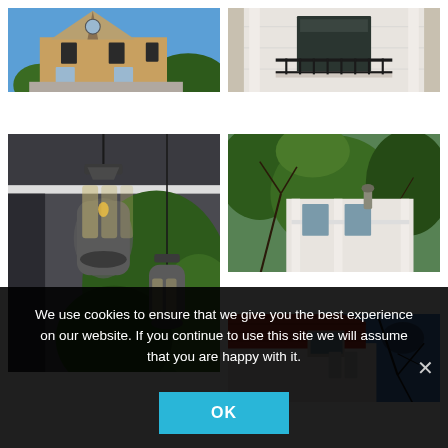[Figure (photo): Victorian-style house with tan/yellow siding, dark shutters, and a pointed roofline against blue sky with trees]
[Figure (photo): White building facade with black wrought-iron balcony railing and columns]
[Figure (photo): Close-up of a covered porch with hanging lantern-style light fixtures and greenery in background]
[Figure (photo): White house exterior covered with ivy/vines, with a porch and bare tree branches visible]
[Figure (photo): Partial view of a house roofline with red metal roof, white siding, and blue sky with tree branches]
We use cookies to ensure that we give you the best experience on our website. If you continue to use this site we will assume that you are happy with it.